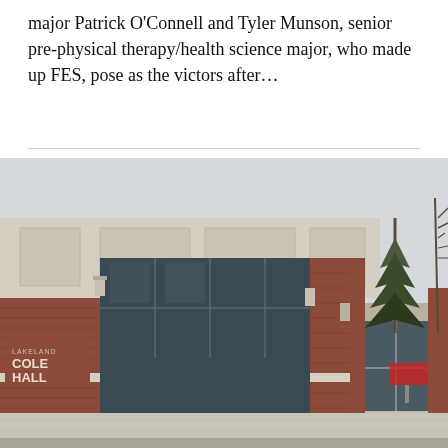major Patrick O'Connell and Tyler Munson, senior pre-physical therapy/health science major, who made up FES, pose as the victors after...
[Figure (photo): Exterior photo of a brick university building labeled 'COLE HALL' with large glass windows and an entrance with glass doors, trees visible in background, overcast sky.]